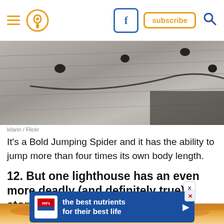Navigation header with hamburger menu, location pin icon, Facebook button, subscribe button, search icon
[Figure (photo): Close-up macro photo of several dark jumping spiders on a weathered wooden surface with visible wood grain]
kilarin / Flickr
It's a Bold Jumping Spider and it has the ability to jump more than four times its own body length.
12. But one lighthouse has an even more deadly (and definitely true) story.
[Figure (photo): Sunset sky with dramatic orange and golden clouds over water or landscape]
[Figure (other): Hill's pet nutrition advertisement banner: 'the best nutrients for their best life' with Hill's logo]